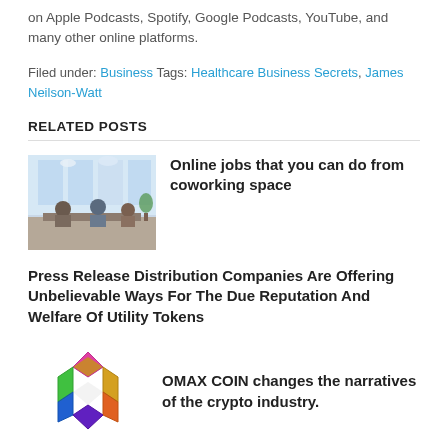on Apple Podcasts, Spotify, Google Podcasts, YouTube, and many other online platforms.
Filed under: Business Tags: Healthcare Business Secrets, James Neilson-Watt
RELATED POSTS
[Figure (photo): Photo of a coworking space with people working at desks near large windows]
Online jobs that you can do from coworking space
Press Release Distribution Companies Are Offering Unbelievable Ways For The Due Reputation And Welfare Of Utility Tokens
[Figure (logo): OMAX COIN colorful geometric logo with interlocking shapes in pink, green, yellow, blue, and orange]
OMAX COIN changes the narratives of the crypto industry.